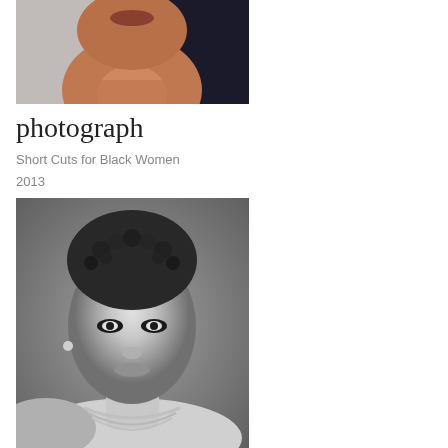[Figure (photo): Close-up color photograph of a Black woman's face and neck, warm skin tones against a light and dark background, cropped at the top]
photograph
Short Cuts for Black Women
2013
[Figure (photo): Black and white portrait photograph of a Black woman with short natural curly hair, wearing a beaded necklace, looking directly at the camera]